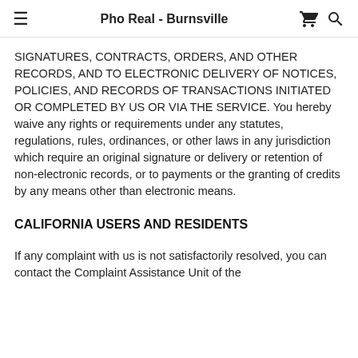Pho Real - Burnsville
SIGNATURES, CONTRACTS, ORDERS, AND OTHER RECORDS, AND TO ELECTRONIC DELIVERY OF NOTICES, POLICIES, AND RECORDS OF TRANSACTIONS INITIATED OR COMPLETED BY US OR VIA THE SERVICE. You hereby waive any rights or requirements under any statutes, regulations, rules, ordinances, or other laws in any jurisdiction which require an original signature or delivery or retention of non-electronic records, or to payments or the granting of credits by any means other than electronic means.
CALIFORNIA USERS AND RESIDENTS
If any complaint with us is not satisfactorily resolved, you can contact the Complaint Assistance Unit of the